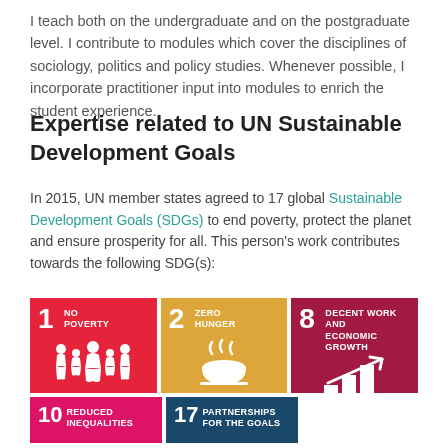I teach both on the undergraduate and on the postgraduate level. I contribute to modules which cover the disciplines of sociology, politics and policy studies. Whenever possible, I incorporate practitioner input into modules to enrich the student experience.
Expertise related to UN Sustainable Development Goals
In 2015, UN member states agreed to 17 global Sustainable Development Goals (SDGs) to end poverty, protect the planet and ensure prosperity for all. This person's work contributes towards the following SDG(s):
[Figure (infographic): Three SDG tiles in a row: 1 No Poverty (red), 2 Zero Hunger (gold/yellow), 8 Decent Work and Economic Growth (dark red/maroon). Each tile shows the SDG number, goal name, and an icon.]
[Figure (infographic): Two partial SDG tiles at the bottom: 10 Reduced Inequalities (magenta/pink), 17 Partnerships for the Goals (dark blue).]